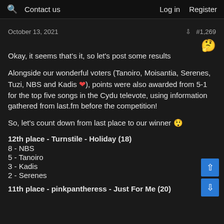🔍 Contact us   Log in   Register
October 13, 2021   #1,269
Okay, it seems that's it, so let's post some results
Alongside our wonderful voters (Tanoiro, Moisantia, Serenes, Tuzi, NBS and Kadis ❤️), points were also awarded from 5-1 for the top five songs in the Cydu televote, using information gathered from last.fm before the competition!
So, let's count down from last place to our winner 😱
12th place - Turnstile - Holiday (18)
8 - NBS
5 - Tanoiro
3 - Kadis
2 - Serenes
11th place - pinkpantheress - Just For Me (20)